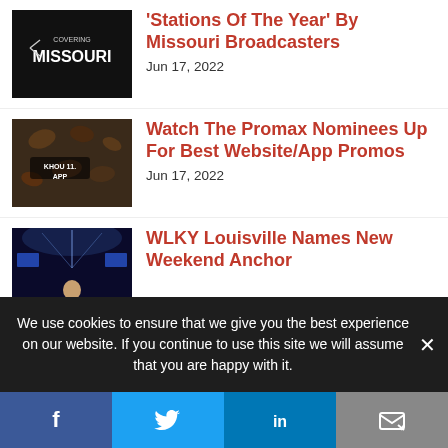[Figure (screenshot): Covering Missouri logo on dark background thumbnail]
'Stations Of The Year' By Missouri Broadcasters
Jun 17, 2022
[Figure (screenshot): KHOU 11 App promo thumbnail with coffee beans background]
Watch The Promax Nominees Up For Best Website/App Promos
Jun 17, 2022
[Figure (screenshot): TV news studio with anchor thumbnail for WLKY Louisville]
WLKY Louisville Names New Weekend Anchor
We use cookies to ensure that we give you the best experience on our website. If you continue to use this site we will assume that you are happy with it.
Facebook | Twitter | LinkedIn | Email